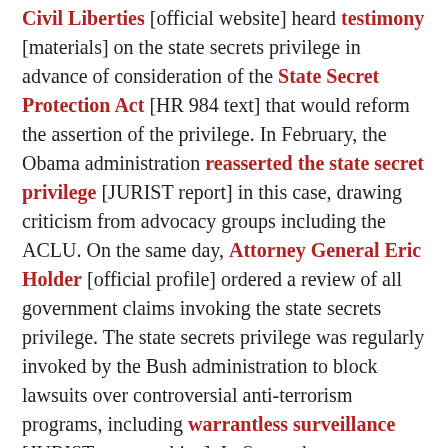Civil Liberties [official website] heard testimony [materials] on the state secrets privilege in advance of consideration of the State Secret Protection Act [HR 984 text] that would reform the assertion of the privilege. In February, the Obama administration reasserted the state secret privilege [JURIST report] in this case, drawing criticism from advocacy groups including the ACLU. On the same day, Attorney General Eric Holder [official profile] ordered a review of all government claims invoking the state secrets privilege. The state secrets privilege was regularly invoked by the Bush administration to block lawsuits over controversial anti-terrorism programs, including warrantless surveillance [JURIST news archive]. In September, a secrecy "report card" [text, PDF; JURIST report] released by OpenTheGovernment.org [advocacy website] revealed that the Bush administration invoked the state secrets privilege "45 times — an average of 6.4 times per year in 7 years (through 2007) — more than double the ...